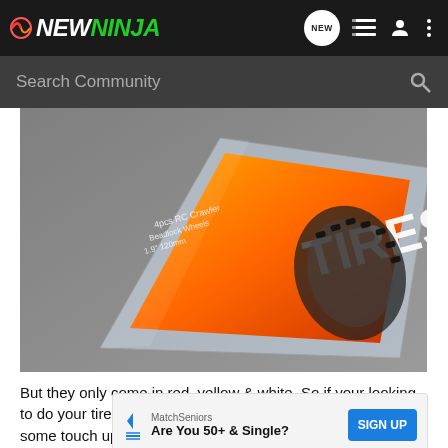NEWNINJA - Search Community navigation bar
[Figure (photo): Product package of RC car tires in a clear plastic clamshell packaging with colorful label showing 'TIRES' text, photographed at an angle on a gray surface]
But they only come in red, yellow & white. So if your looking to do your tires green, you better look elsewhere, or just use some touch up paint, if you can get some to match.
[Figure (other): Advertisement banner: MatchSeniors - Are You 50+ & Single? SIGN UP]